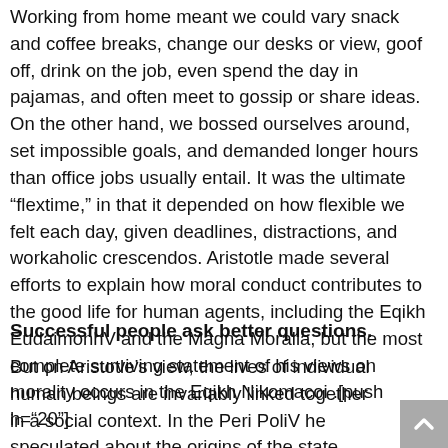Working from home meant we could vary snack and coffee breaks, change our desks or view, goof off, drink on the job, even spend the day in pajamas, and often meet to gossip or share ideas. On the other hand, we bossed ourselves around, set impossible goals, and demanded longer hours than office jobs usually entail. It was the ultimate “flextime,” in that it depended on how flexible we felt each day, given deadlines, distractions, and workaholic crescendos. Aristotle made several efforts to explain how moral conduct contributes to the good life for human agents, including the Eqikh EudaimonhV and the Magna Moralia, but the most complete surviving statement of his views on morality occurs in the Eqikh Nikomacoi .[push h=“20”]
Successful people ask better questions.
But on Aristotle’s view, the lives of individual human beings are invariably linked together in a social context. In the Peri PoliV he speculated about the origins of the state, described and assessed